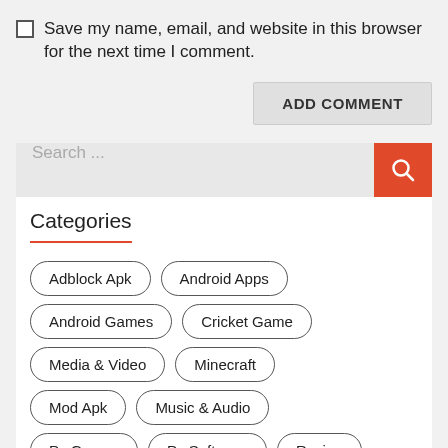Save my name, email, and website in this browser for the next time I comment.
ADD COMMENT
Search ...
Categories
Adblock Apk
Android Apps
Android Games
Cricket Game
Media & Video
Minecraft
Mod Apk
Music & Audio
Pc Games
Pc Software
Racing